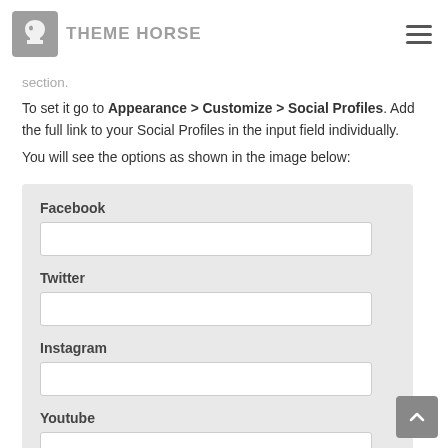THEME HORSE
section.
To set it go to Appearance > Customize > Social Profiles. Add the full link to your Social Profiles in the input field individually.
You will see the options as shown in the image below:
[Figure (screenshot): Screenshot of Social Profiles form with fields for Facebook, Twitter, Instagram, and Youtube, each with an empty text input box, on a light gray background.]